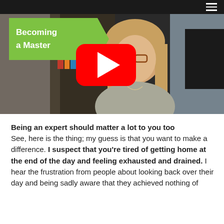[Figure (screenshot): YouTube video thumbnail showing a woman with blonde hair and glasses sitting at a desk. A green speech-bubble label reads 'Becoming a Master' and a red YouTube play button is overlaid in the center.]
Being an expert should matter a lot to you too
See, here is the thing; my guess is that you want to make a difference. I suspect that you're tired of getting home at the end of the day and feeling exhausted and drained. I hear the frustration from people about looking back over their day and being sadly aware that they achieved nothing of significance. It means they have forgotten fi…